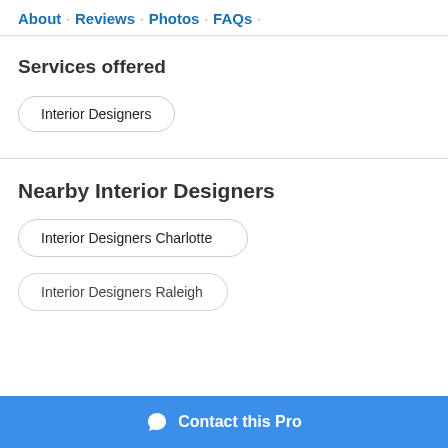About · Reviews · Photos · FAQs ·
Services offered
Interior Designers
Nearby Interior Designers
Interior Designers Charlotte
Interior Designers Raleigh
Contact this Pro